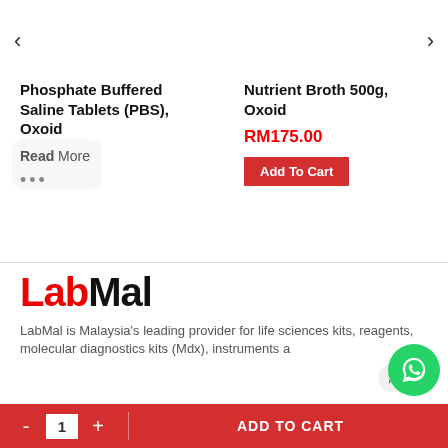< (left arrow navigation)
> (right arrow navigation)
Phosphate Buffered Saline Tablets (PBS), Oxoid
Read More ...
Nutrient Broth 500g, Oxoid
RM175.00
Add To Cart
[Figure (logo): LabMal logo with red 'Lab' and black 'Mal' text]
LabMal is Malaysia's leading provider for life sciences kits, reagents, molecular diagnostics kits (Mdx), instruments a...
- 1 + ADD TO CART